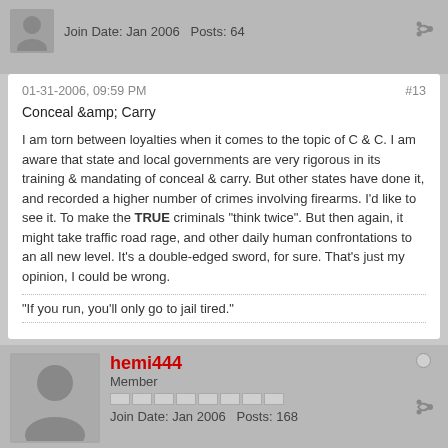Join Date: Jan 2006   Posts: 64
01-31-2006, 09:59 PM
#13
Conceal &amp; Carry
I am torn between loyalties when it comes to the topic of C & C. I am aware that state and local governments are very rigorous in its training & mandating of conceal & carry. But other states have done it, and recorded a higher number of crimes involving firearms. I'd like to see it. To make the TRUE criminals "think twice". But then again, it might take traffic road rage, and other daily human confrontations to an all new level. It's a double-edged sword, for sure. That's just my opinion, I could be wrong.
"If you run, you'll only go to jail tired."
hemi444
Member
Join Date: Jan 2006   Posts: 168
02-01-2006, 12:10 AM
#14
Ok. Maybe I over seen something here but to tell me you are not allowed to